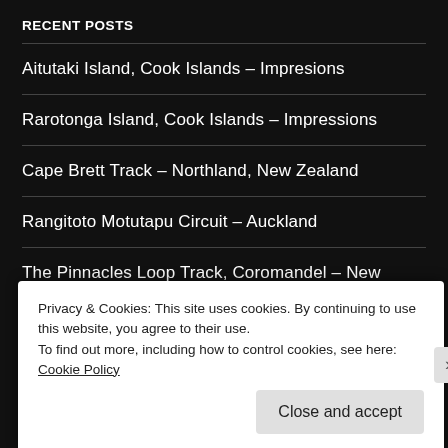RECENT POSTS
Aitutaki Island, Cook Islands – Impresions
Rarotonga Island, Cook Islands – Impressions
Cape Brett Track – Northland, New Zealand
Rangitoto Motutapu Circuit – Auckland
The Pinnacles Loop Track, Coromandel – New Zealand
ARCHIVES
Privacy & Cookies: This site uses cookies. By continuing to use this website, you agree to their use.
To find out more, including how to control cookies, see here: Cookie Policy
Close and accept